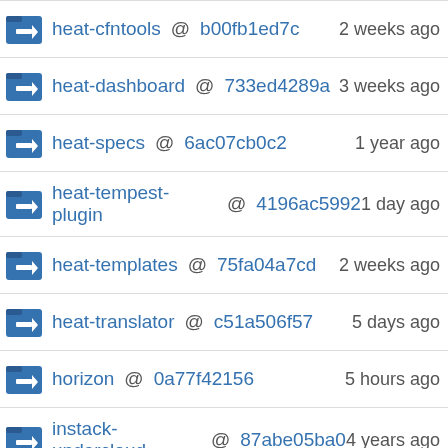heat-cfntools @ b00fb1ed7c — 2 weeks ago
heat-dashboard @ 733ed4289a — 3 weeks ago
heat-specs @ 6ac07cb0c2 — 1 year ago
heat-tempest-plugin @ 4196ac5992 — 1 day ago
heat-templates @ 75fa04a7cd — 2 weeks ago
heat-translator @ c51a506f57 — 5 days ago
horizon @ 0a77f42156 — 5 hours ago
instack-undercloud @ 87abe05ba0 — 4 years ago
ironic @ 7f15710bc4 — 5 hours ago
ironic-inspector @ a1f36a9a6d — 3 weeks ago
ironic-inspector-specs @ 0ef437e95e — 1 year ago